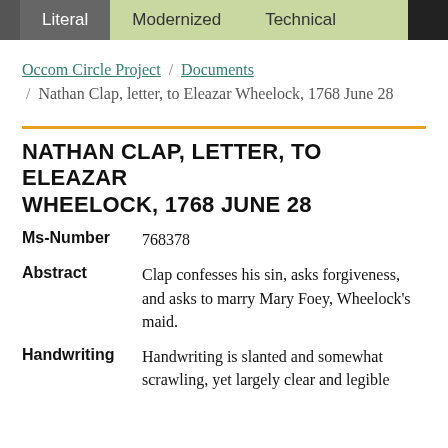Literal  Modernized  Technical
Occom Circle Project / Documents / Nathan Clap, letter, to Eleazar Wheelock, 1768 June 28
NATHAN CLAP, LETTER, TO ELEAZAR WHEELOCK, 1768 JUNE 28
Ms-Number  768378
Abstract  Clap confesses his sin, asks forgiveness, and asks to marry Mary Foey, Wheelock's maid.
Handwriting  Handwriting is slanted and somewhat scrawling, yet largely clear and legible